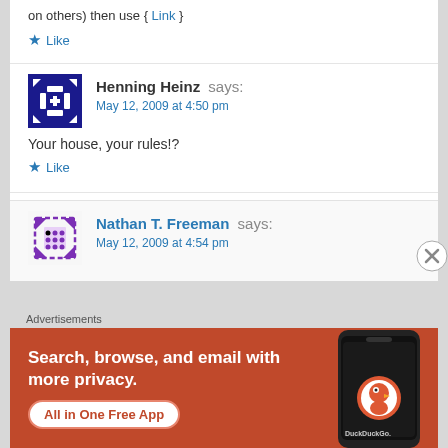on others) then use { Link }
★ Like
Henning Heinz says:
May 12, 2009 at 4:50 pm
Your house, your rules!?
★ Like
Nathan T. Freeman says:
May 12, 2009 at 4:54 pm
Advertisements
[Figure (screenshot): DuckDuckGo advertisement banner: orange background with text 'Search, browse, and email with more privacy. All in One Free App' and DuckDuckGo logo on a phone mockup]